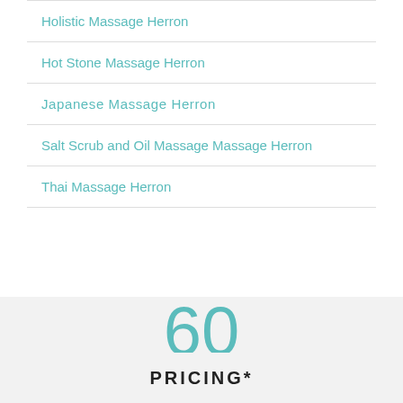Holistic Massage Herron
Hot Stone Massage Herron
Japanese Massage Herron
Salt Scrub and Oil Massage Massage Herron
Thai Massage Herron
PRICING*
60
minutes
$99